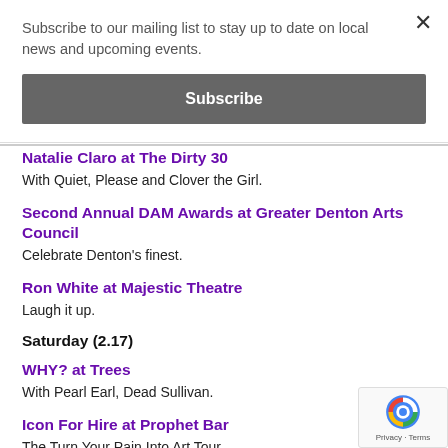Subscribe to our mailing list to stay up to date on local news and upcoming events.
Subscribe
Natalie Claro at The Dirty 30
With Quiet, Please and Clover the Girl.
Second Annual DAM Awards at Greater Denton Arts Council
Celebrate Denton's finest.
Ron White at Majestic Theatre
Laugh it up.
Saturday (2.17)
WHY? at Trees
With Pearl Earl, Dead Sullivan.
Icon For Hire at Prophet Bar
The Turn Your Pain Into Art Tour.